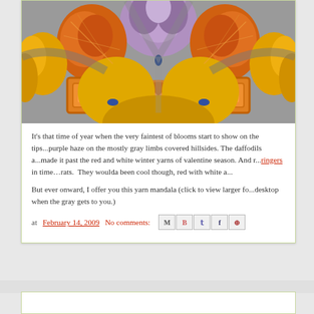[Figure (illustration): Colorful symmetrical yarn mandala with orange, yellow, purple, and brown tones arranged in a kaleidoscope pattern]
It's that time of year when the very faintest of blooms start to show on the tips...purple haze on the mostly gray limbs covered hillsides. The daffodils a...made it past the red and white winter yarns of valentine season. And r...ringers in time…rats. They woulda been cool though, red with white a...
But ever onward, I offer you this yarn mandala (click to view larger fo...desktop when the gray gets to you.)
at February 14, 2009   No comments: